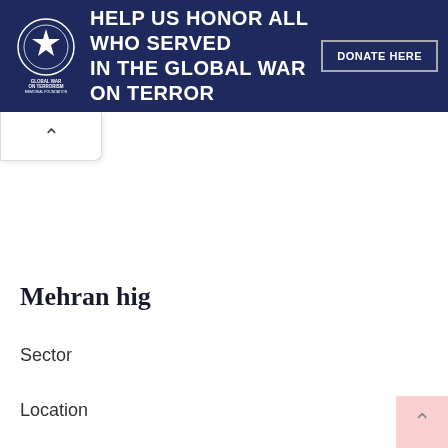[Figure (infographic): Dark navy blue banner advertisement for 'Global War on Terrorism Memorial Foundation'. Contains a circular emblem/logo on the left, bold white text reading 'HELP US HONOR ALL WHO SERVED IN THE GLOBAL WAR ON TERROR', and a 'DONATE HERE' button on the right. Small ad indicator icons in top-right corner.]
Mehran hig
Sector
Location